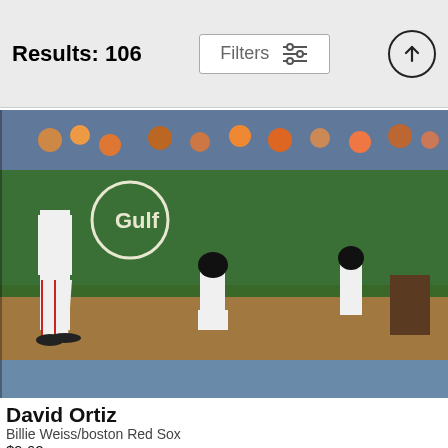Results: 106   Filters
[Figure (photo): Baseball players at Fenway Park - David Ortiz walking, players crouching in background, green wall visible, Gulf logo on wall]
David Ortiz
Billie Weiss/boston Red Sox
$9.62
[Figure (photo): Baseball player wearing number 5 Braves jersey standing on field with dramatic cloudy sky background, stadium crowd visible]